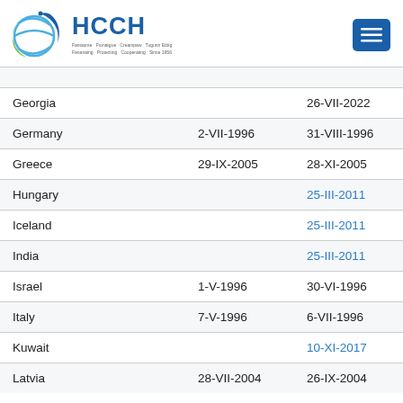HCCH
|  |  |  |
| --- | --- | --- |
| Georgia |  | 26-VII-2022 |
| Germany | 2-VII-1996 | 31-VIII-1996 |
| Greece | 29-IX-2005 | 28-XI-2005 |
| Hungary |  | 25-III-2011 |
| Iceland |  | 25-III-2011 |
| India |  | 25-III-2011 |
| Israel | 1-V-1996 | 30-VI-1996 |
| Italy | 7-V-1996 | 6-VII-1996 |
| Kuwait |  | 10-XI-2017 |
| Latvia | 28-VII-2004 | 26-IX-2004 |